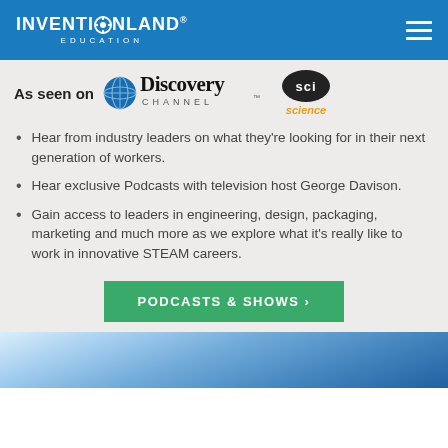INVENTIONLAND EDUCATION
[Figure (logo): As seen on Discovery Channel and SCI science logos]
Hear from industry leaders on what they're looking for in their next generation of workers.
Hear exclusive Podcasts with television host George Davison.
Gain access to leaders in engineering, design, packaging, marketing and much more as we explore what it's really like to work in innovative STEAM careers.
PODCASTS & SHOWS ›
[Figure (photo): Blue-tinted photo of lab/tech workspace at bottom of page]